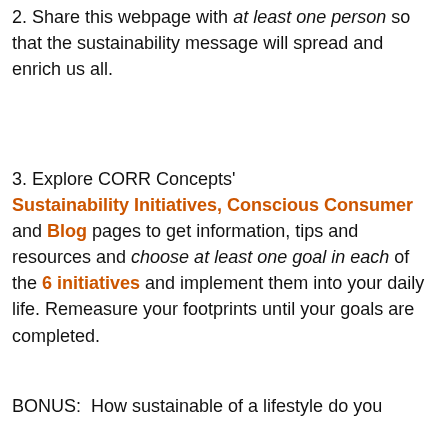2. Share this webpage with at least one person so that the sustainability message will spread and enrich us all.
3. Explore CORR Concepts' Sustainability Initiatives, Conscious Consumer and Blog pages to get information, tips and resources and choose at least one goal in each of the 6 initiatives and implement them into your daily life. Remeasure your footprints until your goals are completed.
BONUS:  How sustainable of a lifestyle do you